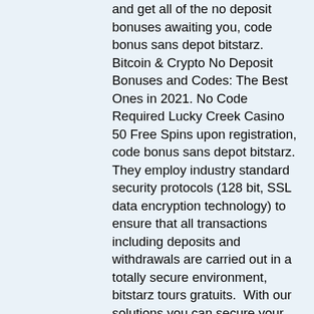and get all of the no deposit bonuses awaiting you, code bonus sans depot bitstarz. Bitcoin & Crypto No Deposit Bonuses and Codes: The Best Ones in 2021. No Code Required Lucky Creek Casino 50 Free Spins upon registration, code bonus sans depot bitstarz. They employ industry standard security protocols (128 bit, SSL data encryption technology) to ensure that all transactions including deposits and withdrawals are carried out in a totally secure environment, bitstarz tours gratuits.  With our solutions you can secure your online business and database, and protect users against brute-force attacks, credential theft,. There appears to be a limited amount of slot tables available (only 20) at the new casino, bitstarz casino promo codes. They can be found at slots. Bitcrack a tool for brute-forcing bitcoin private keys. Bitstarz casino 100percent up to eur100 1 btc bonus bitstarz casino 100percent up to